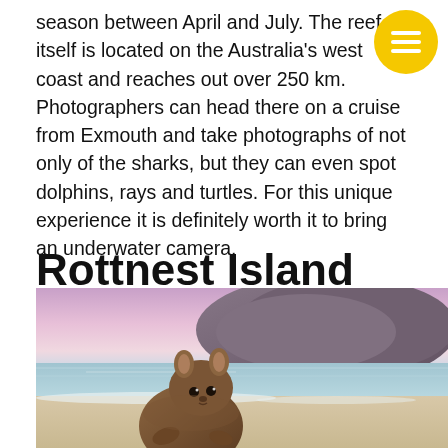season between April and July. The reef itself is located on the Australia's west coast and reaches out over 250 km. Photographers can head there on a cruise from Exmouth and take photographs of not only of the sharks, but they can even spot dolphins, rays and turtles. For this unique experience it is definitely worth it to bring an underwater camera.
Rottnest Island
[Figure (photo): A quokka on a sandy beach at sunset with rocky cliffs and calm ocean water in the background. The sky is pink and purple.]